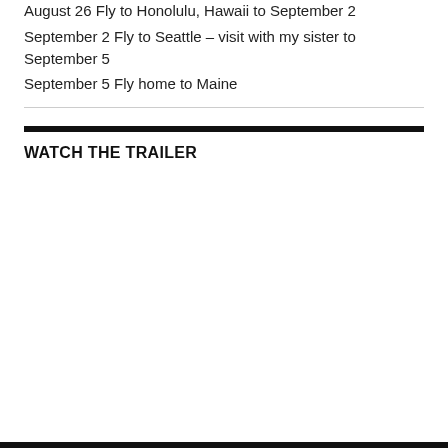August 26  Fly to Honolulu, Hawaii to September 2
September 2 Fly to Seattle – visit with my sister to September 5
September 5  Fly home to Maine
WATCH THE TRAILER